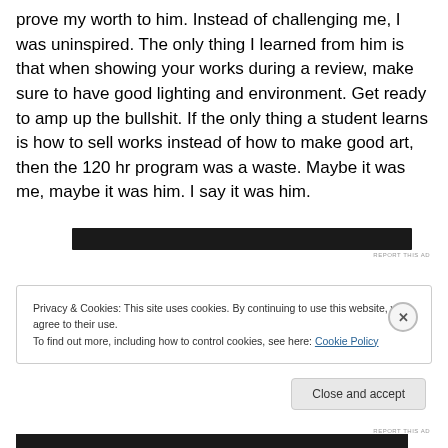prove my worth to him. Instead of challenging me, I was uninspired. The only thing I learned from him is that when showing your works during a review, make sure to have good lighting and environment. Get ready to amp up the bullshit. If the only thing a student learns is how to sell works instead of how to make good art, then the 120 hr program was a waste. Maybe it was me, maybe it was him. I say it was him.
[Figure (other): Dark/black advertisement banner bar]
REPORT THIS AD
Privacy & Cookies: This site uses cookies. By continuing to use this website, you agree to their use.
To find out more, including how to control cookies, see here: Cookie Policy
Close and accept